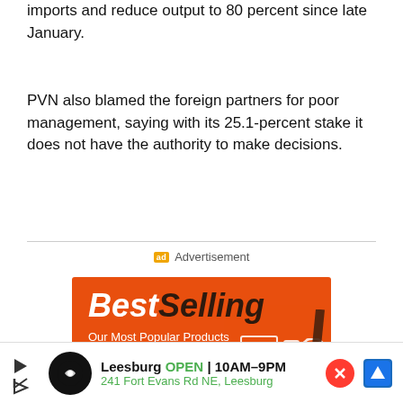imports and reduce output to 80 percent since late January.
PVN also blamed the foreign partners for poor management, saying with its 25.1-percent stake it does not have the authority to make decisions.
Advertisement
[Figure (illustration): Orange advertisement banner for 'BestSelling - Our Most Popular Products - Updated Weekly!' with product icons including laptop, phone, hat, and other items on orange background.]
[Figure (infographic): Bottom advertisement bar: Leesburg OPEN 10AM-9PM, 241 Fort Evans Rd NE, Leesburg with circular logo and navigation icon.]